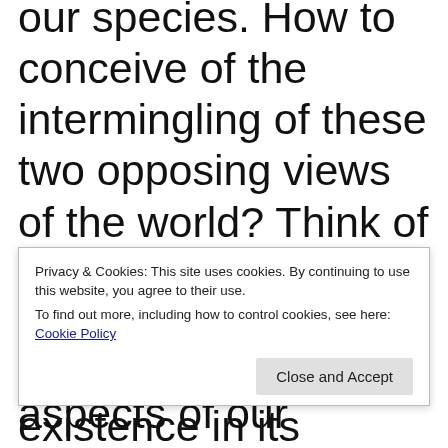our species. How to conceive of the intermingling of these two opposing views of the world? Think of the likely result as a song of reverence for the beauty of human existence in its messiest, muckiest manifestations; imagine
Privacy & Cookies: This site uses cookies. By continuing to use this website, you agree to their use. To find out more, including how to control cookies, see here: Cookie Policy
aspects of our species. It'd be